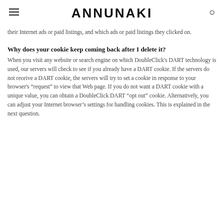ANNUNAKI
their Internet ads or paid listings, and which ads or paid listings they clicked on.
Why does your cookie keep coming back after I delete it?
When you visit any website or search engine on which DoubleClick's DART technology is used, our servers will check to see if you already have a DART cookie. If the servers do not receive a DART cookie, the servers will try to set a cookie in response to your browser's “request” to view that Web page. If you do not want a DART cookie with a unique value, you can obtain a DoubleClick DART “opt out” cookie. Alternatively, you can adjust your Internet browser’s settings for handling cookies. This is explained in the next question.